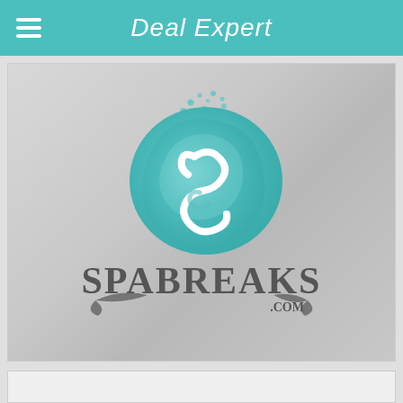Deal Expert
[Figure (logo): SpaBreaks.com logo: teal/turquoise circular spa bubble icon with decorative S letterform, above the text SPABREAKS.COM in dark serif font with decorative swash elements]